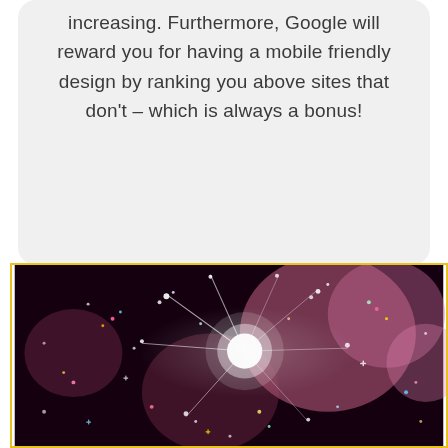increasing. Furthermore, Google will reward you for having a mobile friendly design by ranking you above sites that don't – which is always a bonus!
[Figure (photo): Close-up photo of colorful glitter/confetti sparkles with a blurred pink bokeh background, framed with a yellow/gold border]